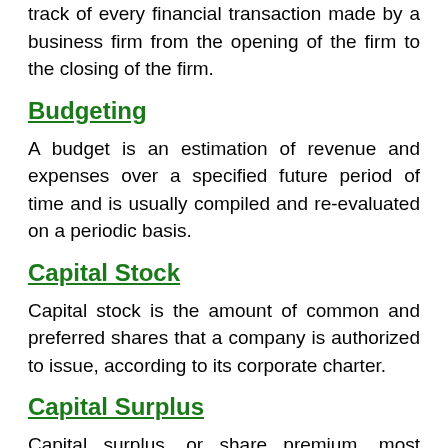track of every financial transaction made by a business firm from the opening of the firm to the closing of the firm.
Budgeting
A budget is an estimation of revenue and expenses over a specified future period of time and is usually compiled and re-evaluated on a periodic basis.
Capital Stock
Capital stock is the amount of common and preferred shares that a company is authorized to issue, according to its corporate charter.
Capital Surplus
Capital surplus, or share premium, most commonly refers to the surplus resulting after common stock is sold for more than its par value.